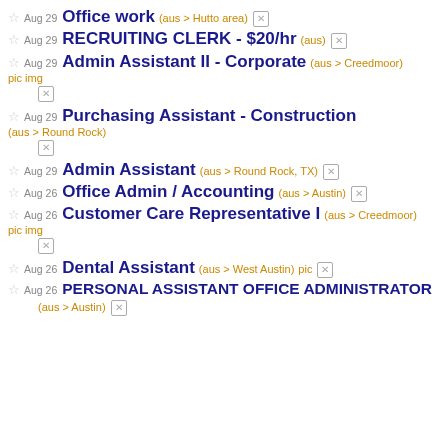Aug 29 Office work (aus > Hutto area)
Aug 29 RECRUITING CLERK - $20/hr (aus)
Aug 29 Admin Assistant II - Corporate (aus > Creedmoor) pic img
Aug 29 Purchasing Assistant - Construction (aus > Round Rock)
Aug 29 Admin Assistant (aus > Round Rock, TX)
Aug 26 Office Admin / Accounting (aus > Austin)
Aug 26 Customer Care Representative I (aus > Creedmoor) pic img
Aug 26 Dental Assistant (aus > West Austin) pic
Aug 26 PERSONAL ASSISTANT OFFICE ADMINISTRATOR (aus > Austin)